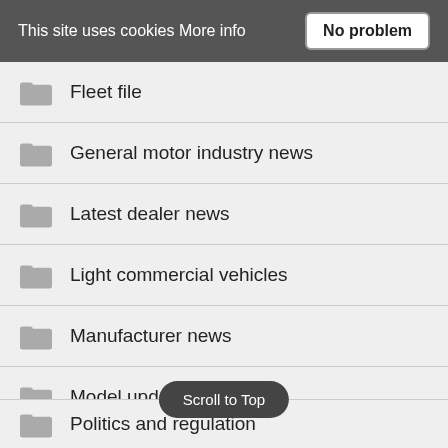This site uses cookies More info  No problem
Fleet file
General motor industry news
Latest dealer news
Light commercial vehicles
Manufacturer news
Model update
Motorhome & Campervan News
People on the move
Politics and regulation